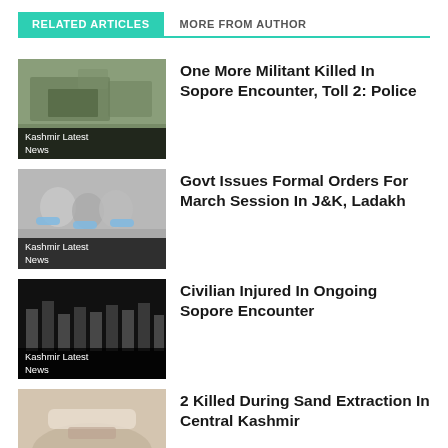RELATED ARTICLES
MORE FROM AUTHOR
One More Militant Killed In Sopore Encounter, Toll 2: Police
Kashmir Latest News
Govt Issues Formal Orders For March Session In J&K, Ladakh
Kashmir Latest News
Civilian Injured In Ongoing Sopore Encounter
Kashmir Latest News
2 Killed During Sand Extraction In Central Kashmir
Kashmir Latest News